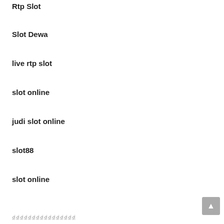Rtp Slot
Slot Dewa
live rtp slot
slot online
judi slot online
slot88
slot online
ที่ที่ที่ที่ที่ที่ที่ที่ที่ที่ที่ที่ที่ที่ที่ที่